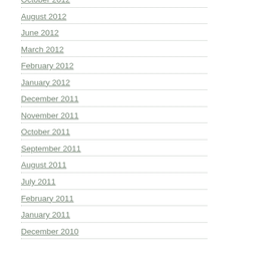October 2012
August 2012
June 2012
March 2012
February 2012
January 2012
December 2011
November 2011
October 2011
September 2011
August 2011
July 2011
February 2011
January 2011
December 2010